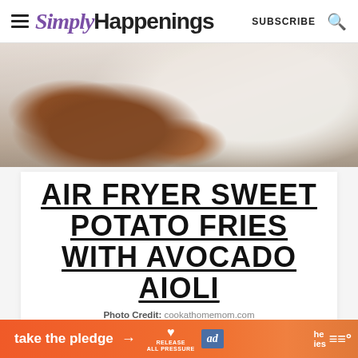SimplyHappenings  SUBSCRIBE
[Figure (photo): Food photo showing air fryer sweet potato fries with dipping sauce and herbs on a white plate]
AIR FRYER SWEET POTATO FRIES WITH AVOCADO AIOLI
Photo Credit: cookathomemom.com
[Figure (other): Advertisement banner: 'take the pledge' with arrow, RELEASE logo, and ad icon on orange background]